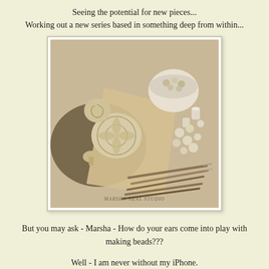Seeing the potential for new pieces...
Working out a new series based in something deep from within...
[Figure (photo): A pottery studio workbench with clay pieces including carved medallions, small ceramic beads and vessels, sculpting tools, and a bowl of ceramic pieces. Watermark reads MARSHA NEAL STUDIO.]
But you may ask - Marsha - How do your ears come into play with making beads???
Well - I am never without my iPhone.
And I often wander with music playing around the studio, house and garden.